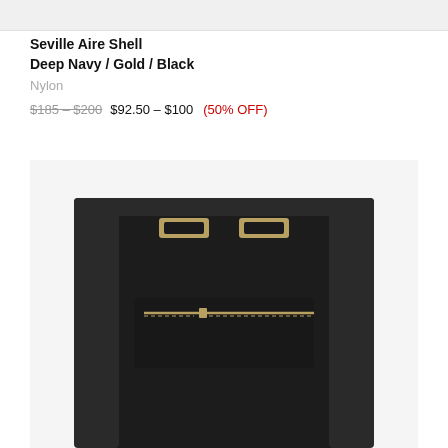[Figure (photo): Top portion of a product image (gray background strip at top)]
Seville Aire Shell
Deep Navy / Gold / Black
Nylon
$185 - $200  $92.50 - $100  (50% OFF)
[Figure (photo): Black handbag/tote bag with gold hardware, shown from the front/back angle on a light gray background. The bag has two gold rectangular clasp hardware pieces near the top and a gold zipper pocket on the front.]